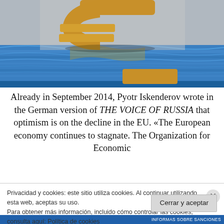[Figure (photo): Gold 3D Euro currency symbol sinking into blue water, photographed from above at an angle, with gold reflections in the rippled water surface.]
Already in September 2014, Pyotr Iskenderov wrote in the German version of THE VOICE OF RUSSIA that optimism is on the decline in the EU. «The European economy continues to stagnate. The Organization for Economic
Privacidad y cookies: este sitio utiliza cookies. Al continuar utilizando esta web, aceptas su uso.
Para obtener más información, incluido cómo controlar las cookies, consulta aquí: Política de cookies
Cerrar y aceptar